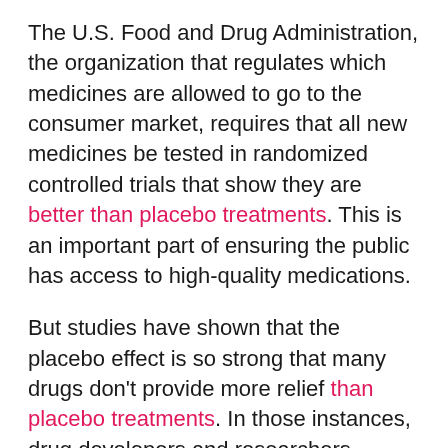The U.S. Food and Drug Administration, the organization that regulates which medicines are allowed to go to the consumer market, requires that all new medicines be tested in randomized controlled trials that show they are better than placebo treatments. This is an important part of ensuring the public has access to high-quality medications.
But studies have shown that the placebo effect is so strong that many drugs don't provide more relief than placebo treatments. In those instances, drug developers and researchers sometimes see placebo effects as a nuisance that masks the treatment benefits of the manufactured drug. That sets up an